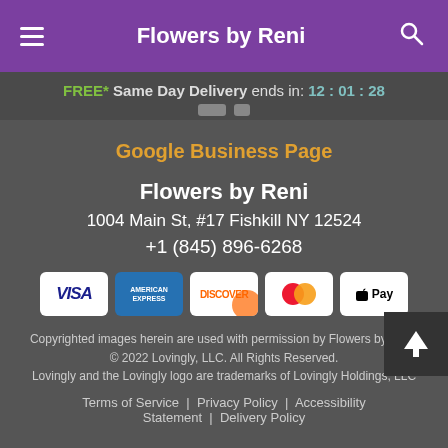Flowers by Reni
FREE* Same Day Delivery ends in: 12:01:28
Google Business Page
Flowers by Reni
1004 Main St, #17 Fishkill NY 12524
+1 (845) 896-6268
[Figure (other): Payment method icons: Visa, American Express, Discover, Mastercard, Apple Pay]
Copyrighted images herein are used with permission by Flowers by Reni.
© 2022 Lovingly, LLC. All Rights Reserved.
Lovingly and the Lovingly logo are trademarks of Lovingly Holdings, LLC
Terms of Service | Privacy Policy | Accessibility Statement | Delivery Policy